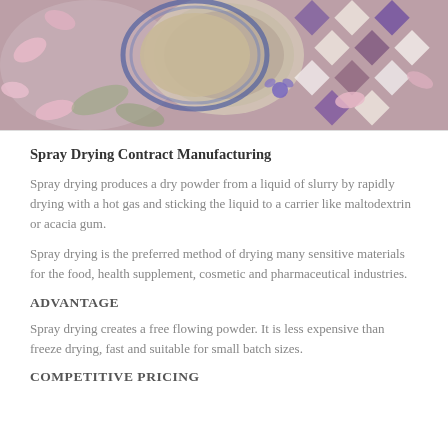[Figure (photo): Decorative photo showing flowers, a blue-rimmed plate or bowl with powder, and a diamond-pattern tile background with pink magnolia flowers and purple blooms]
Spray Drying Contract Manufacturing
Spray drying produces a dry powder from a liquid of slurry by rapidly drying with a hot gas and sticking the liquid to a carrier like maltodextrin or acacia gum.
Spray drying is the preferred method of drying many sensitive materials for the food, health supplement, cosmetic and pharmaceutical industries.
ADVANTAGE
Spray drying creates a free flowing powder. It is less expensive than freeze drying, fast and suitable for small batch sizes.
COMPETITIVE PRICING